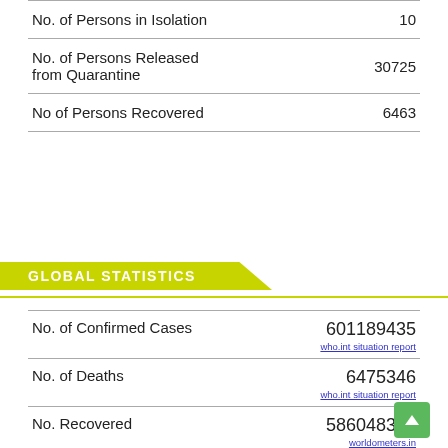|  |  |
| --- | --- |
| No. of Persons in Isolation | 10 |
| No. of Persons Released from Quarantine | 30725 |
| No of Persons Recovered | 6463 |
GLOBAL STATISTICS
|  |  |
| --- | --- |
| No. of Confirmed Cases | 601189435
who.int situation report |
| No. of Deaths | 6475346
who.int situation report |
| No. Recovered | 586048397
worldometers.in |